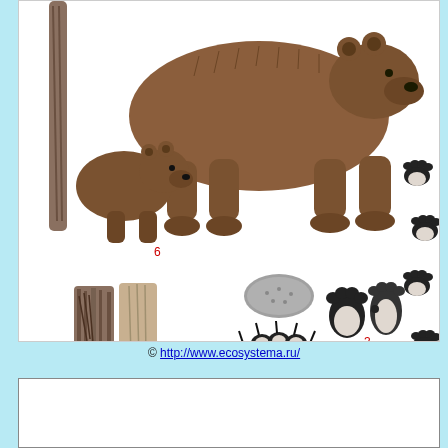[Figure (illustration): Scientific illustration showing a brown bear with a cub (labeled 6), tree bark/scratching posts (labeled 2), bear droppings (oval gray shape), large bear paw print (labeled 5), front and hind paw prints pair (labeled 3), and a series of bear tracks showing walking gait (labeled 4). The illustration is used for wildlife/animal tracking education.]
© http://www.ecosystema.ru/